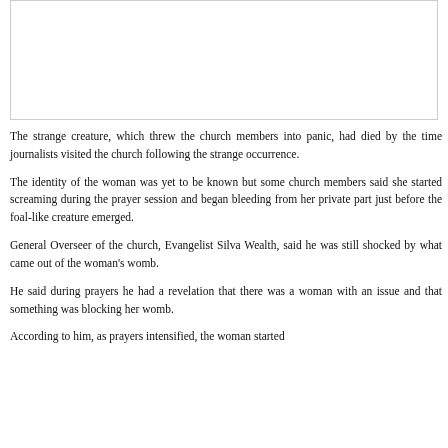[Figure (other): Empty bordered image placeholder box at top of page]
The strange creature, which threw the church members into panic, had died by the time journalists visited the church following the strange occurrence.
The identity of the woman was yet to be known but some church members said she started screaming during the prayer session and began bleeding from her private part just before the foal-like creature emerged.
General Overseer of the church, Evangelist Silva Wealth, said he was still shocked by what came out of the woman's womb.
He said during prayers he had a revelation that there was a woman with an issue and that something was blocking her womb.
According to him, as prayers intensified, the woman started